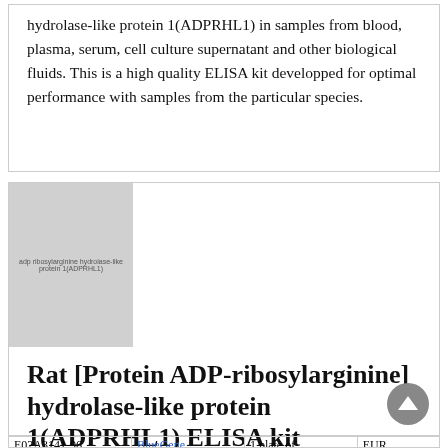hydrolase-like protein 1(ADPRHL1) in samples from blood, plasma, serum, cell culture supernatant and other biological fluids. This is a high quality ELISA kit developped for optimal performance with samples from the particular species.
[Figure (photo): Product image placeholder showing ADP-ribosylarginine hydrolase-like protein 1(ADPRHL1) ELISA kit]
Rat [Protein ADP-ribosylarginine] hydrolase-like protein 1(ADPRHL1) ELISA kit
|  | BlueGene | 1 plate of | EUR |
| --- | --- | --- | --- |
| E02A3141-96 | BlueGene | 1 plate of | EUR |